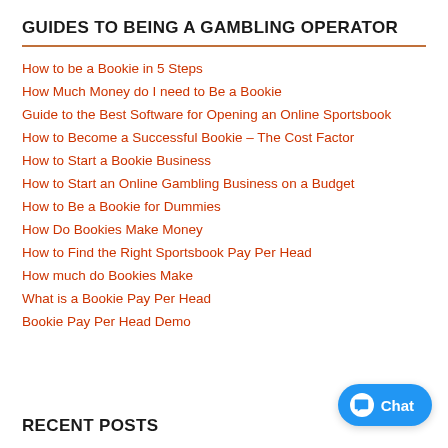GUIDES TO BEING A GAMBLING OPERATOR
How to be a Bookie in 5 Steps
How Much Money do I need to Be a Bookie
Guide to the Best Software for Opening an Online Sportsbook
How to Become a Successful Bookie – The Cost Factor
How to Start a Bookie Business
How to Start an Online Gambling Business on a Budget
How to Be a Bookie for Dummies
How Do Bookies Make Money
How to Find the Right Sportsbook Pay Per Head
How much do Bookies Make
What is a Bookie Pay Per Head
Bookie Pay Per Head Demo
RECENT POSTS